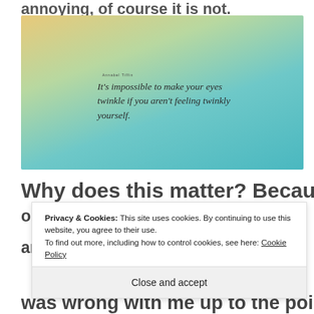annoying, of course it is not.
[Figure (illustration): A gradient image blending warm yellow-orange at top to teal/cyan at bottom, overlaid with an italic serif quote: "It's impossible to make your eyes twinkle if you aren't feeling twinkly yourself." with a small attribution above it.]
Why does this matter? Because when
our
and
Privacy & Cookies: This site uses cookies. By continuing to use this website, you agree to their use.
To find out more, including how to control cookies, see here: Cookie Policy
Close and accept
m
was wrong with me up to the point of feeling